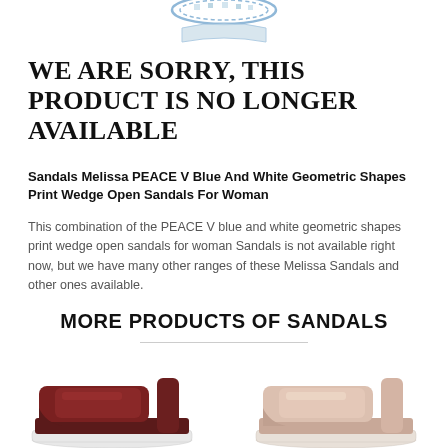[Figure (photo): Partial view of a blue and white geometric print sandal shoe, cropped at top of page]
WE ARE SORRY, THIS PRODUCT IS NO LONGER AVAILABLE
Sandals Melissa PEACE V Blue And White Geometric Shapes Print Wedge Open Sandals For Woman
This combination of the PEACE V blue and white geometric shapes print wedge open sandals for woman Sandals is not available right now, but we have many other ranges of these Melissa Sandals and other ones available.
MORE PRODUCTS OF SANDALS
[Figure (photo): Dark brown/maroon Melissa sandal with straps, white sole, shown from side angle]
[Figure (photo): Pale pink/nude Melissa sandal with straps, shown from side angle]